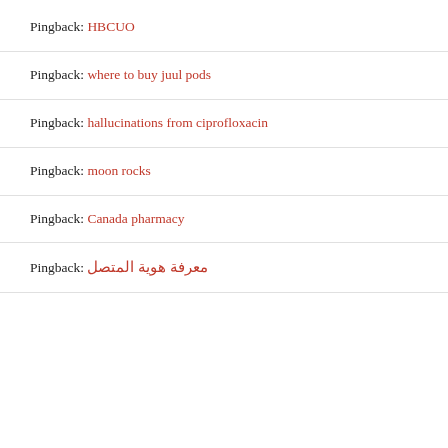Pingback: HBCUO
Pingback: where to buy juul pods
Pingback: hallucinations from ciprofloxacin
Pingback: moon rocks
Pingback: Canada pharmacy
Pingback: معرفة هوية المتصل